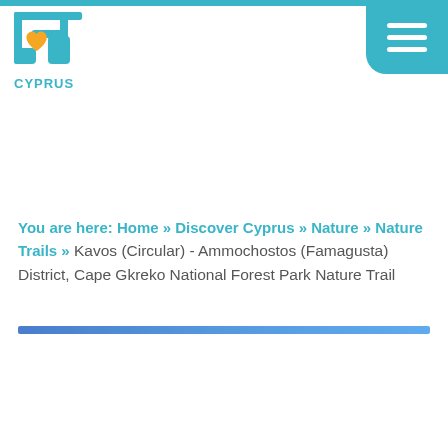[Figure (logo): Love Cyprus tourism logo with teal and yellow heart icon and 'CYPRUS' text in teal below]
[Figure (other): Teal hamburger menu button with three white horizontal lines, rounded bottom-left corner]
You are here: Home » Discover Cyprus » Nature » Nature Trails » Kavos (Circular) - Ammochostos (Famagusta) District, Cape Gkreko National Forest Park Nature Trail